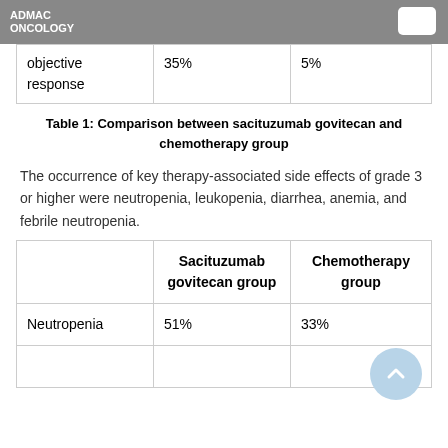ADMAC ONCOLOGY
|  |  |  |
| --- | --- | --- |
| objective response | 35% | 5% |
Table 1: Comparison between sacituzumab govitecan and chemotherapy group
The occurrence of key therapy-associated side effects of grade 3 or higher were neutropenia, leukopenia, diarrhea, anemia, and febrile neutropenia.
|  | Sacituzumab govitecan group | Chemotherapy group |
| --- | --- | --- |
| Neutropenia | 51% | 33% |
|  |  |  |